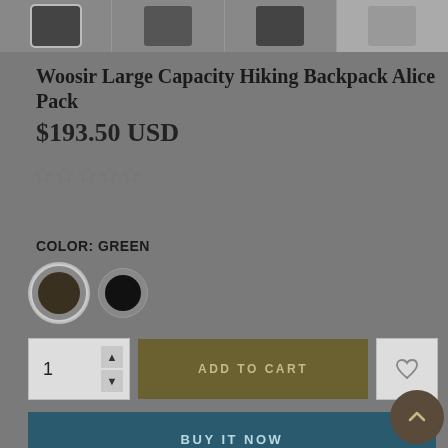[Figure (photo): Row of four product thumbnail images of a hiking backpack against a gray background, first one selected with a border]
Woosir Large Capacity Hiking Backpack Alice Pack
$193.50 USD
[Figure (other): Five star rating icons (empty/outline stars)]
COLOR: GREEN
[Figure (other): Two circular color swatches: green (selected with border) and black]
[Figure (other): Quantity selector showing 1 with up/down arrows, Add to Cart button in olive/khaki color, and heart/wishlist icon button]
[Figure (other): BUY IT NOW button in dark teal blue color]
[Figure (other): Scroll to top circular button with upward arrow, dark brown color]